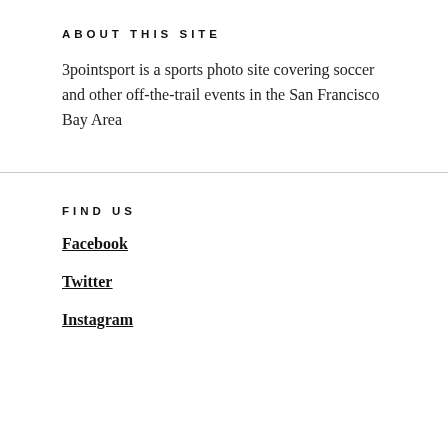ABOUT THIS SITE
3pointsport is a sports photo site covering soccer and other off-the-trail events in the San Francisco Bay Area
FIND US
Facebook
Twitter
Instagram